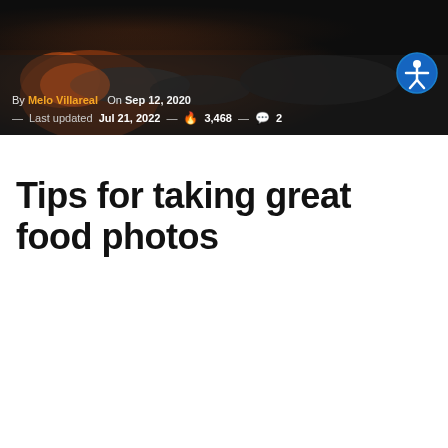[Figure (photo): Dark food photography background showing grilled or charred food items including what appears to be seafood or meat on a dark surface. The image is dark and moody.]
By Melo Villareal — On Sep 12, 2020 — Last updated Jul 21, 2022 — 🔥 3,468 — 💬 2
Tips for taking great food photos